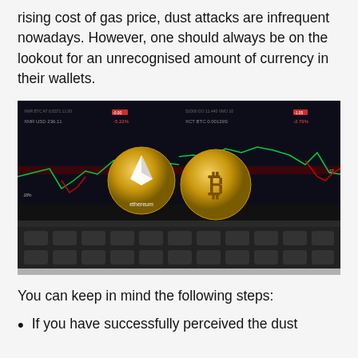rising cost of gas price, dust attacks are infrequent nowadays. However, one should always be on the lookout for an unrecognised amount of currency in their wallets.
[Figure (photo): An Ethereum coin and a Bitcoin coin placed in front of a laptop screen displaying cryptocurrency trading charts with green and red price movement lines.]
You can keep in mind the following steps:
If you have successfully perceived the dust